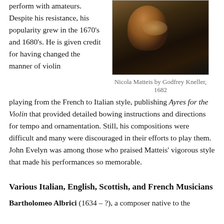perform with amateurs.  Despite his resistance, his popularity grew in the 1670's and 1680's. He is given credit for having changed the manner of violin
[Figure (photo): Portrait painting of Nicola Matteis by Godfrey Kneller, 1682, dark tones with brownish-orange colors]
Nicola Matteis by Godfrey Kneller, 1682
playing from the French to Italian style, publishing Ayres for the Violin that provided detailed bowing instructions and directions for tempo and ornamentation. Still, his compositions were difficult and many were discouraged in their efforts to play them. John Evelyn was among those who praised Matteis' vigorous style that made his performances so memorable.
Various Italian, English, Scottish, and French Musicians
Bartholomeo Albrici (1634 – ?), a composer native to the